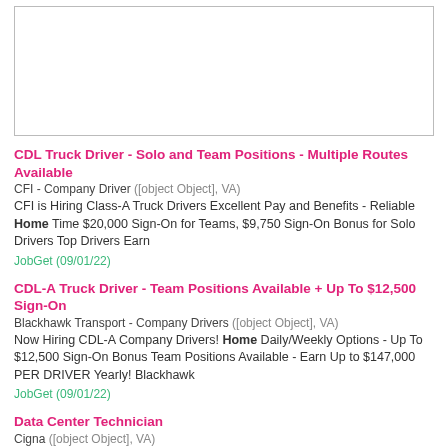[Figure (other): Advertisement box (empty/blank ad placeholder)]
CDL Truck Driver - Solo and Team Positions - Multiple Routes Available
CFI - Company Driver ([object Object], VA)
CFI is Hiring Class-A Truck Drivers Excellent Pay and Benefits - Reliable Home Time $20,000 Sign-On for Teams, $9,750 Sign-On Bonus for Solo Drivers Top Drivers Earn
JobGet (09/01/22)
CDL-A Truck Driver - Team Positions Available + Up To $12,500 Sign-On
Blackhawk Transport - Company Drivers ([object Object], VA)
Now Hiring CDL-A Company Drivers! Home Daily/Weekly Options - Up To $12,500 Sign-On Bonus Team Positions Available - Earn Up to $147,000 PER DRIVER Yearly! Blackhawk
JobGet (09/01/22)
Data Center Technician
Cigna ([object Object], VA)
…is a new business within the Cigna Corporation. This role is WAH/Flex which allows most work to be performed at home . Employees must be fully vaccinated if
Upward (08/29/22)
Merchandising
The Home Depot (Leesburg, VA)
…possible shopping experience while always keeping safety, accuracy and efficiency at the forefront. Supplier Experience Executing price changes, product rotation